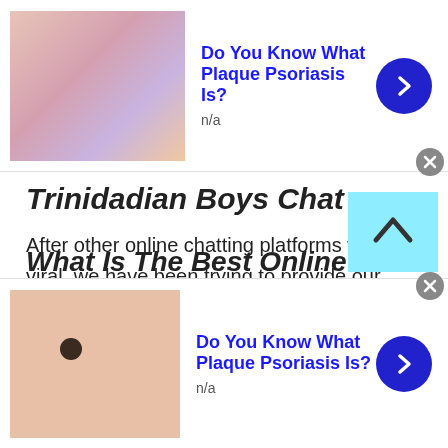[Figure (infographic): Top advertisement banner: image of colorful skin/texture on left, bold blue title 'Do You Know What Plaque Psoriasis Is?', subtitle 'n/a', blue arrow button on right, grey close button]
Trinidadian Boys Chat
After other online chatting platforms went viral, we have been trying to provide our users with similar features to the famous online video chatting sites such as Chatroulette, Chatrandom, and omegle chat , etc. Hence, our online video chatting platform has seen an increase in the number of daily users. With over 800 000 users per month, we are expanding our features to provide people with a plethora of options to play around with.
[Figure (infographic): Bottom advertisement banner: image of a hand/skin with a mole on left, bold blue title 'Do You Know What Plaque Psoriasis Is?', subtitle 'n/a', blue arrow button on right, grey close button]